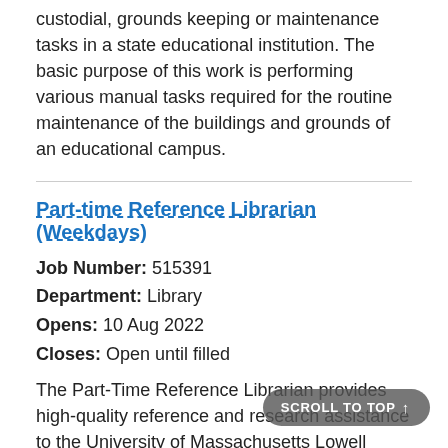custodial, grounds keeping or maintenance tasks in a state educational institution. The basic purpose of this work is performing various manual tasks required for the routine maintenance of the buildings and grounds of an educational campus.
Part-time Reference Librarian (Weekdays)
Job Number: 515391
Department: Library
Opens: 10 Aug 2022
Closes: Open until filled
The Part-Time Reference Librarian provides high-quality reference and research assistance to the University of Massachusetts Lowell community. UMass Lowell is a welcoming and diverse community, with a proven track record in providing a world-class education at an affordable price. The Part-Time Reference Librarian is a